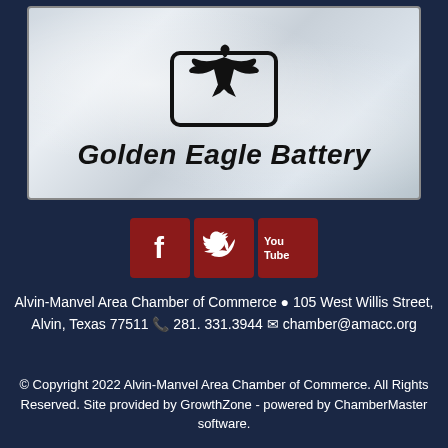[Figure (logo): Golden Eagle Battery logo — eagle silhouette inside a rounded rectangle, with text 'Golden Eagle Battery' in bold italic below, on a silver/crystal background]
[Figure (infographic): Social media icons: Facebook (f), Twitter (bird), YouTube (You Tube) — three dark red square buttons]
Alvin-Manvel Area Chamber of Commerce 🔺 105 West Willis Street, Alvin, Texas 77511 📞 281. 331.3944 ✉ chamber@amacc.org
© Copyright 2022 Alvin-Manvel Area Chamber of Commerce. All Rights Reserved. Site provided by GrowthZone - powered by ChamberMaster software.